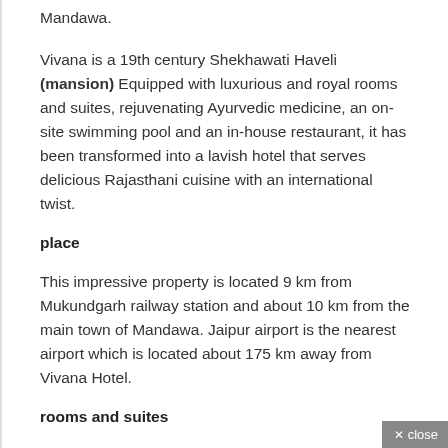Mandawa.
Vivana is a 19th century Shekhawati Haveli (mansion) Equipped with luxurious and royal rooms and suites, rejuvenating Ayurvedic medicine, an on-site swimming pool and an in-house restaurant, it has been transformed into a lavish hotel that serves delicious Rajasthani cuisine with an international twist.
place
This impressive property is located 9 km from Mukundgarh railway station and about 10 km from the main town of Mandawa. Jaipur airport is the nearest airport which is located about 175 km away from Vivana Hotel.
rooms and suites